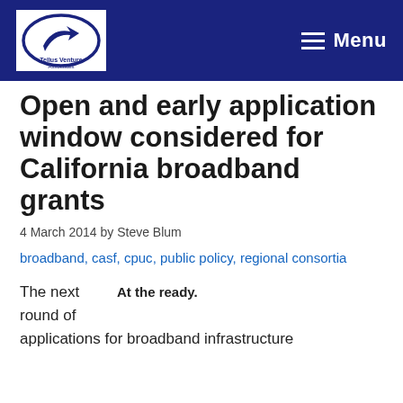Tellus Venture Associates — Menu
Open and early application window considered for California broadband grants
4 March 2014 by Steve Blum
broadband, casf, cpuc, public policy, regional consortia
The next  At the ready.  round of applications for broadband infrastructure